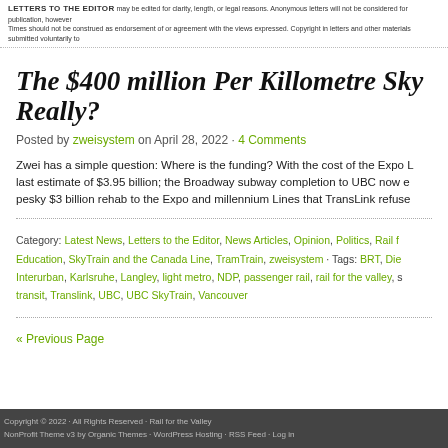LETTERS TO THE EDITOR may be edited for clarity, length, or legal reasons. Anonymous letters will not be considered for publication, however Times should not be construed as endorsement of or agreement with the views expressed. Copyright in letters and other materials submitted voluntarily to
The $400 million Per Killometre Sky Really?
Posted by zweisystem on April 28, 2022 · 4 Comments
Zwei has a simple question: Where is the funding? With the cost of the Expo L last estimate of $3.95 billion; the Broadway subway completion to UBC now e pesky $3 billion rehab to the Expo and millennium Lines that TransLink refuse
Category: Latest News, Letters to the Editor, News Articles, Opinion, Politics, Rail f Education, SkyTrain and the Canada Line, TramTrain, zweisystem · Tags: BRT, Die Interurban, Karlsruhe, Langley, light metro, NDP, passenger rail, rail for the valley, s transit, Translink, UBC, UBC SkyTrain, Vancouver
« Previous Page
Copyright © 2022 · All Rights Reserved · Rail for the Valley
NonProfit Theme v3 by Organic Themes · WordPress Hosting · RSS Feed · Log in